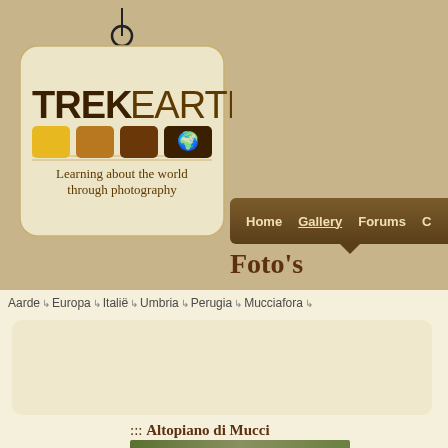[Figure (logo): TrekEarth logo: a luggage tag shape with string/ring at top, displaying TREKEARTH text and colored squares (yellow, orange, dark brown) plus a world map icon, with tagline 'Learning about the world through photography']
Home  Gallery  Forums  C...
Foto's
Aarde → Europa → Italië → Umbria → Perugia → Mucciafora →
::: Altopiano di Mucci...
[Figure (photo): Partial photo visible at bottom of page showing landscape with trees]